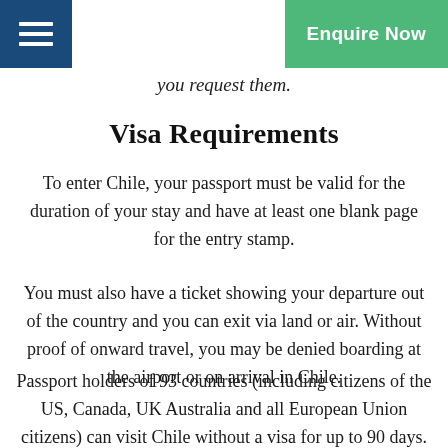Menu | Enquire Now
you request them.
Visa Requirements
To enter Chile, your passport must be valid for the duration of your stay and have at least one blank page for the entry stamp.
You must also have a ticket showing your departure out of the country and you can exit via land or air. Without proof of onward travel, you may be denied boarding at the airport or on arrival in Chile.
Passport holders of 93 countries (including citizens of the US, Canada, UK Australia and all European Union citizens) can visit Chile without a visa for up to 90 days. All travellers (including Chileans) are not allowed to stay on